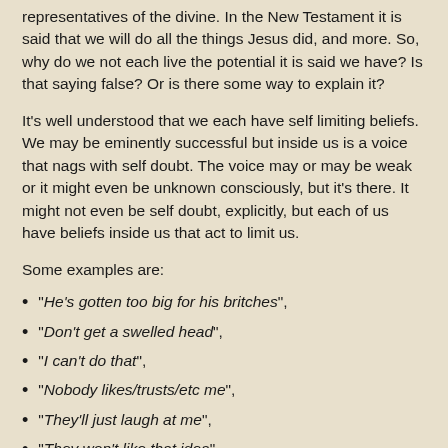representatives of the divine. In the New Testament it is said that we will do all the things Jesus did, and more. So, why do we not each live the potential it is said we have? Is that saying false? Or is there some way to explain it?
It's well understood that we each have self limiting beliefs. We may be eminently successful but inside us is a voice that nags with self doubt. The voice may or may be weak or it might even be unknown consciously, but it's there. It might not even be self doubt, explicitly, but each of us have beliefs inside us that act to limit us.
Some examples are:
"He's gotten too big for his britches",
"Don't get a swelled head",
"I can't do that",
"Nobody likes/trusts/etc me",
"They'll just laugh at me",
"They won't like that idea",
"They always reject me",